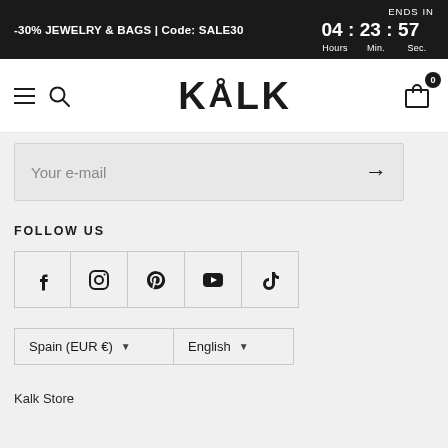-30% JEWELRY & BAGS | Code: SALE30  ENDS IN  04 : 23 : 57  Hours  Min.  Sec.
[Figure (logo): KÅLK brand logo with navigation icons (hamburger menu, search icon, cart with 0 badge)]
Your e-mail
FOLLOW US
[Figure (infographic): Social media icons row: Facebook, Instagram, Pinterest, YouTube, TikTok]
Spain (EUR €)   English
Kalk Store